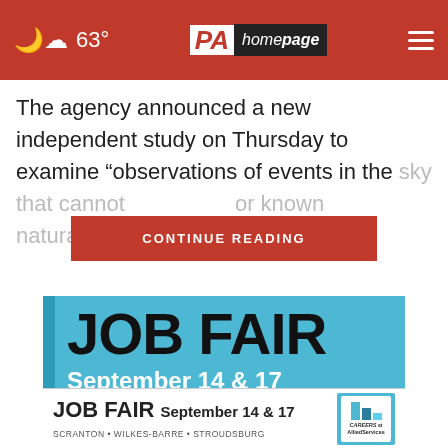63° PA homepage
The agency announced a new independent study on Thursday to examine “observations of events in the sky that cannot be immediately identified or known natural phenomena” — that is, free from
[Figure (infographic): CONTINUE READING button overlay in red]
[Figure (infographic): Job Fair advertisement. JOB FAIR September 14 & 17. Scranton 303 Smallacombe Dr. Wilkes-Barre 200 S Meade St. Careers at Allied Services logo.]
[Figure (infographic): Bottom banner ad: JOB FAIR September 14 & 17. Scranton • Wilkes-Barre • Stroudsburg. Careers at Allied Services logo.]